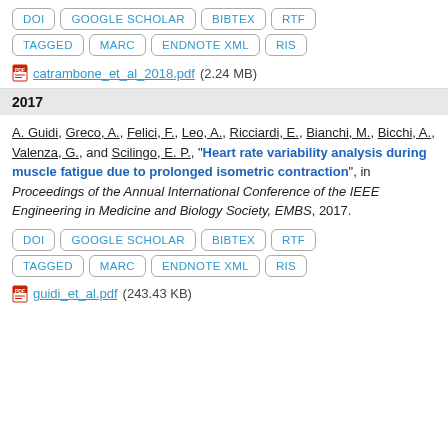DOI  GOOGLE SCHOLAR  BIBTEX  RTF  TAGGED  MARC  ENDNOTE XML  RIS
catrambone_et_al_2018.pdf (2.24 MB)
2017
A. Guidi, Greco, A., Felici, F., Leo, A., Ricciardi, E., Bianchi, M., Bicchi, A., Valenza, G., and Scilingo, E. P., "Heart rate variability analysis during muscle fatigue due to prolonged isometric contraction", in Proceedings of the Annual International Conference of the IEEE Engineering in Medicine and Biology Society, EMBS, 2017.
DOI  GOOGLE SCHOLAR  BIBTEX  RTF  TAGGED  MARC  ENDNOTE XML  RIS
guidi_et_al.pdf (243.43 KB)